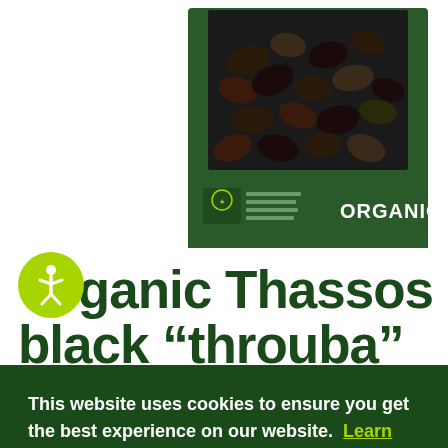[Figure (photo): Photo of a green box of Organic Thassos black throuba olives, showing olives through a window in the packaging with ORGANIC label and EU organic certification logo visible.]
Organic Thassos black "throuba" olive
An original delicious taste
This website uses cookies to ensure you get the best experience on our website.  Learn more
Got it!
Olives
"Throuba" is an unusual variety of black olives, in which...